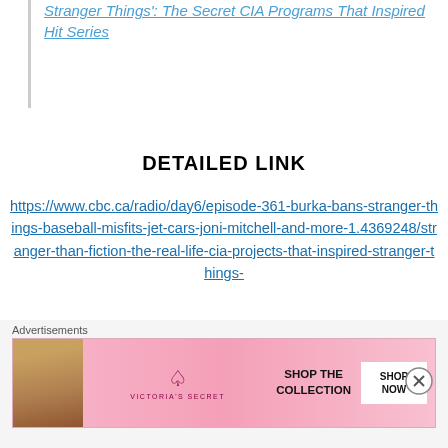Stranger Things': The Secret CIA Programs That Inspired Hit Series
DETAILED LINK
https://www.cbc.ca/radio/day6/episode-361-burka-bans-stranger-things-baseball-misfits-jet-cars-joni-mitchell-and-more-1.4369248/stranger-than-fiction-the-real-life-cia-projects-that-inspired-stranger-things-
[Figure (other): Victoria's Secret advertisement banner showing a woman and 'SHOP THE COLLECTION / SHOP NOW' text]
Advertisements